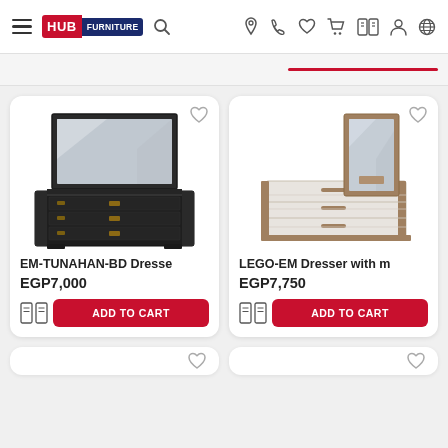HUB FURNITURE
[Figure (photo): EM-TUNAHAN-BD Dresser product image — black dresser with large mirror and three drawers with gold handles]
EM-TUNAHAN-BD Dresse
EGP7,000
[Figure (photo): LEGO-EM Dresser with mirror product image — white dresser with tall narrow mirror and multiple drawers with wood accents]
LEGO-EM Dresser with m
EGP7,750